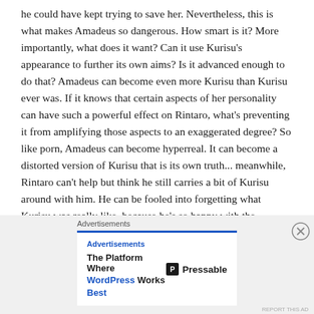he could have kept trying to save her. Nevertheless, this is what makes Amadeus so dangerous. How smart is it? More importantly, what does it want? Can it use Kurisu's appearance to further its own aims? Is it advanced enough to do that? Amadeus can become even more Kurisu than Kurisu ever was. If it knows that certain aspects of her personality can have such a powerful effect on Rintaro, what's preventing it from amplifying those aspects to an exaggerated degree? So like porn, Amadeus can become hyperreal. It can become a distorted version of Kurisu that is its own truth... meanwhile, Rintaro can't help but think he still carries a bit of Kurisu around with him. He can be fooled into forgetting what Kurisu was really like, because he's so happy with the simulation.
Advertisements
Advertisements
[Figure (other): Advertisement banner for Pressable WordPress hosting. Text reads: 'The Platform Where WordPress Works Best' with Pressable logo on the right.]